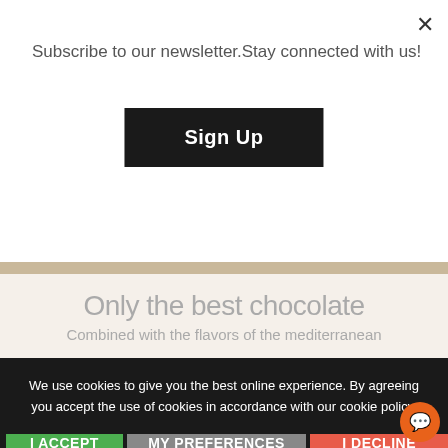Subscribe to our newsletter.Stay connected with us!
Sign Up
×
Only the best chocolate
Combined with the flavors of the mediterranean
We use cookies to give you the best online experience. By agreeing you accept the use of cookies in accordance with our cookie policy.
I ACCEPT
MY PREFERENCES
I DECLINE
Privacy Center   Privacy Settings   Learn More about our Cookie Policy